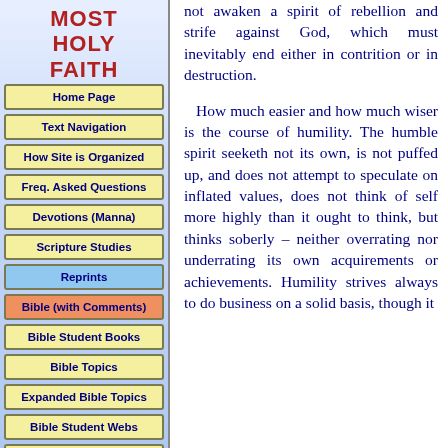MOST HOLY FAITH
Home Page
Text Navigation
How Site is Organized
Freq. Asked Questions
Devotions (Manna)
Scripture Studies
Reprints
Bible (with Comments)
Bible Student Books
Bible Topics
Expanded Bible Topics
Bible Student Webs
Miscellaneous
not awaken a spirit of rebellion and strife against God, which must inevitably end either in contrition or in destruction.

How much easier and how much wiser is the course of humility. The humble spirit seeketh not its own, is not puffed up, and does not attempt to speculate on inflated values, does not think of self more highly than it ought to think, but thinks soberly – neither overrating nor underrating its own acquirements or achievements. Humility strives always to do business on a solid basis, though it